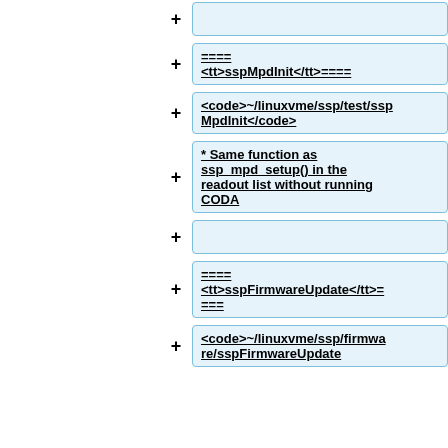+ (empty box)
+ ====
<tt>sspMpdInit</tt>====
+ <code>~/linuxvme/ssp/test/sspMpdInit</code>
+ * Same function as ssp_mpd_setup() in the readout list without running CODA
+ (empty box)
+ ====
<tt>sspFirmwareUpdate</tt>===
+ <code>~/linuxvme/ssp/firmware/sspFirmwareUpdate